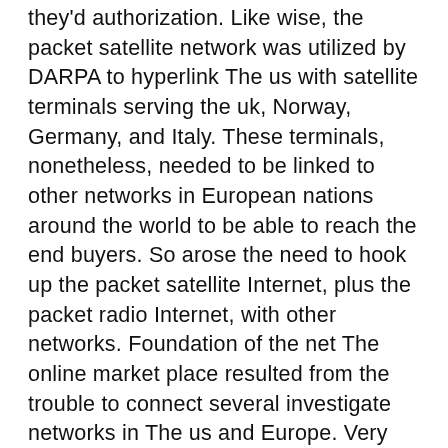they'd authorization. Like wise, the packet satellite network was utilized by DARPA to hyperlink The us with satellite terminals serving the uk, Norway, Germany, and Italy. These terminals, nonetheless, needed to be linked to other networks in European nations around the world to be able to reach the end buyers. So arose the need to hook up the packet satellite Internet, plus the packet radio Internet, with other networks. Foundation of the net The online market place resulted from the trouble to connect several investigate networks in The us and Europe. Very first, DARPA set up a plan to analyze the interconnection of "heterogeneous networks." This plan, named Internetting, was determined by the recently launched principle of open architecture networking, where networks with defined normal interfaces would be interconnected by "gateways." A Operating demonstration from the principle was planned. In order for the principle to operate, a fresh